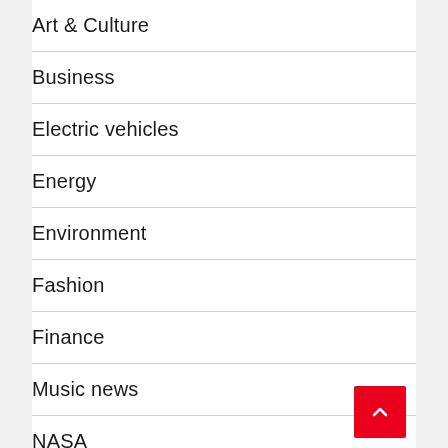Art & Culture
Business
Electric vehicles
Energy
Environment
Fashion
Finance
Music news
NASA